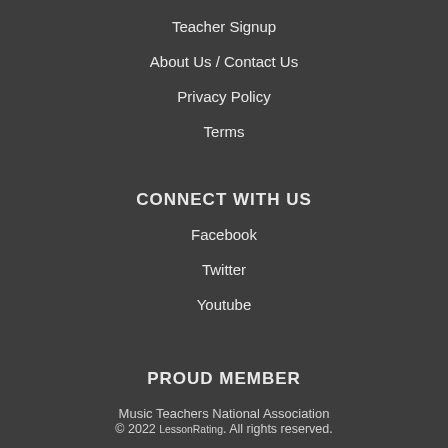Teacher Signup
About Us / Contact Us
Privacy Policy
Terms
CONNECT WITH US
Facebook
Twitter
Youtube
PROUD MEMBER
Music Teachers National Association
© 2022 LessonRating. All rights reserved.